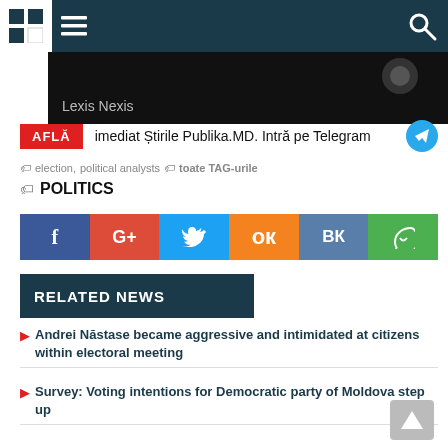Publika.MD navigation header
[Figure (screenshot): Lexis Nexis dark banner]
AFLĂ imediat Știrile Publika.MD. Intră pe Telegram
election, political analysts toate TAG-urile
POLITICS
[Figure (infographic): Social share buttons: Facebook, Google+, Twitter, Odnoklassniki, VK, WhatsApp]
RELATED NEWS
Andrei Năstase became aggressive and intimidated at citizens within electoral meeting
Survey: Voting intentions for Democratic party of Moldova step up
Independent candidate launched campaign but refused to reveal his election programs as he fears..his ideas are stolen